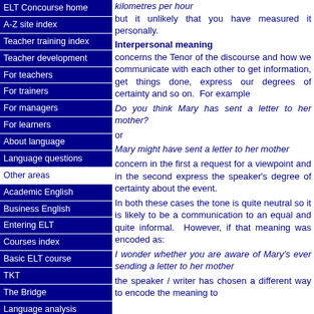kilometres per hour but it unlikely that you have measured it personally.
Interpersonal meaning
concerns the Tenor of the discourse and how we communicate with each other to get information, get things done, express our degrees of certainty and so on. For example
Do you think Mary has sent a letter to her mother?
or
Mary might have sent a letter to her mother
concern in the first a request for a viewpoint and in the second express the speaker's degree of certainty about the event.
In both these cases the tone is quite neutral so it is likely to be a communication to an equal and quite informal. However, if that meaning was encoded as:
I wonder whether you are aware of Mary's ever sending a letter to her mother
the speaker / writer has chosen a different way to encode the meaning to
ELT Concourse home
A-Z site index
Teacher training index
Teacher development
For teachers
For trainers
For managers
For learners
About language
Language questions
Other areas
Academic English
Business English
Entering ELT
Courses index
Basic ELT course
TKT
The Bridge
Language analysis
Training to train